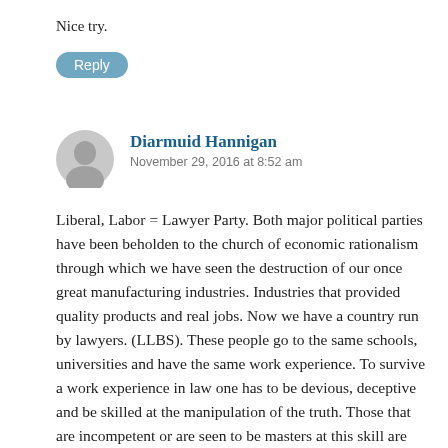Nice try.
[Figure (other): Reply button — a rounded pill-shaped button with label 'Reply' on a teal/blue background]
[Figure (other): User avatar — grey circle with a silhouette figure icon]
Diarmuid Hannigan
November 29, 2016 at 8:52 am
Liberal, Labor = Lawyer Party. Both major political parties have been beholden to the church of economic rationalism through which we have seen the destruction of our once great manufacturing industries. Industries that provided quality products and real jobs. Now we have a country run by lawyers. (LLBS). These people go to the same schools, universities and have the same work experience. To survive a work experience in law one has to be devious, deceptive and be skilled at the manipulation of the truth. Those that are incompetent or are seen to be masters at this skill are promoted to the rank of politician. We have an over representation of lawyers in our parliaments, if we were to calculate the ratio based upon the number of lawyers in the parliament as against the general population since only 0.25% of the population are lawyers